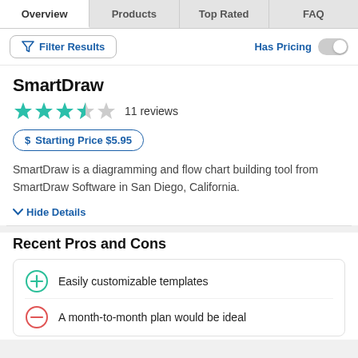Overview | Products | Top Rated | FAQ
Filter Results | Has Pricing
SmartDraw
11 reviews
Starting Price $5.95
SmartDraw is a diagramming and flow chart building tool from SmartDraw Software in San Diego, California.
Hide Details
Recent Pros and Cons
Easily customizable templates
A month-to-month plan would be ideal